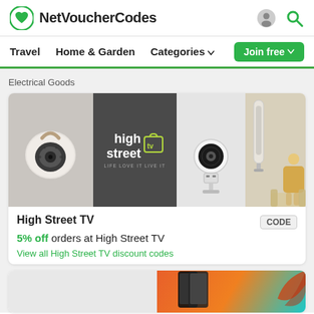NetVoucherCodes
Travel
Home & Garden
Categories
Join free
Electrical Goods
[Figure (photo): High Street TV promotional banner showing a white speaker, the High Street TV logo on dark background with tagline LIFE LOVE IT LIVE IT, a white fan, and a tower fan with a woman seated nearby.]
High Street TV
5% off orders at High Street TV
View all High Street TV discount codes
[Figure (photo): Partial view of a second promotional card showing smartphones and autumn leaves on a colorful background.]